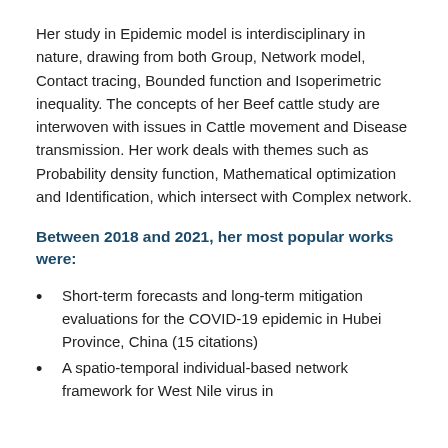Her study in Epidemic model is interdisciplinary in nature, drawing from both Group, Network model, Contact tracing, Bounded function and Isoperimetric inequality. The concepts of her Beef cattle study are interwoven with issues in Cattle movement and Disease transmission. Her work deals with themes such as Probability density function, Mathematical optimization and Identification, which intersect with Complex network.
Between 2018 and 2021, her most popular works were:
Short-term forecasts and long-term mitigation evaluations for the COVID-19 epidemic in Hubei Province, China (15 citations)
A spatio-temporal individual-based network framework for West Nile virus in